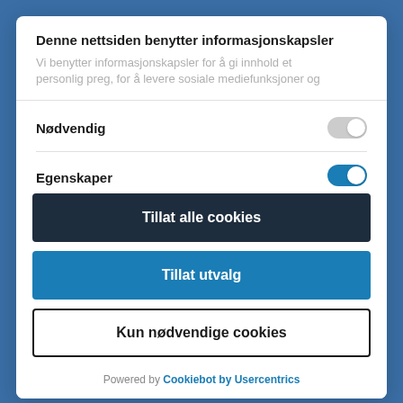Denne nettsiden benytter informasjonskapsler
Vi benytter informasjonskapsler for å gi innhold et personlig preg, for å levere sosiale mediefunksjoner og
Nødvendig
Egenskaper
Tillat alle cookies
Tillat utvalg
Kun nødvendige cookies
Powered by Cookiebot by Usercentrics
(SRMR), multicentre pragmatic parallel group